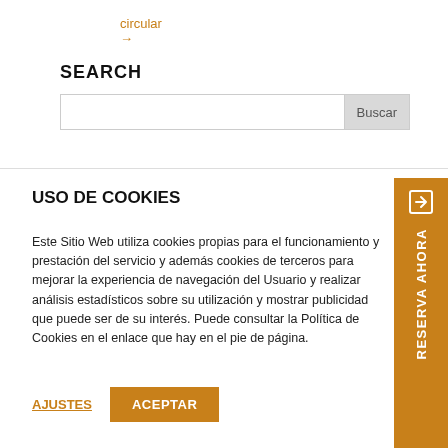circular →
SEARCH
Buscar
USO DE COOKIES
Este Sitio Web utiliza cookies propias para el funcionamiento y prestación del servicio y además cookies de terceros para mejorar la experiencia de navegación del Usuario y realizar análisis estadísticos sobre su utilización y mostrar publicidad que puede ser de su interés. Puede consultar la Política de Cookies en el enlace que hay en el pie de página.
AJUSTES
ACEPTAR
RESERVA AHORA